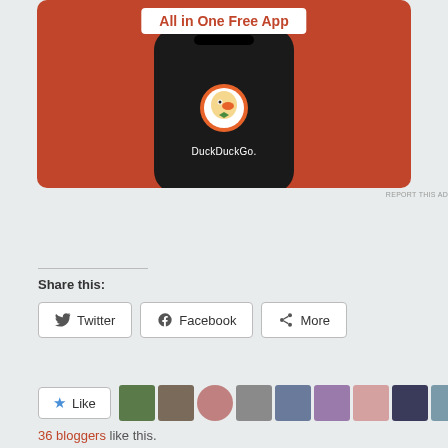[Figure (advertisement): DuckDuckGo 'All in One Free App' advertisement showing a smartphone with DuckDuckGo logo on an orange/red background]
REPORT THIS AD
Share this:
Twitter  Facebook  More
Like
36 bloggers like this.